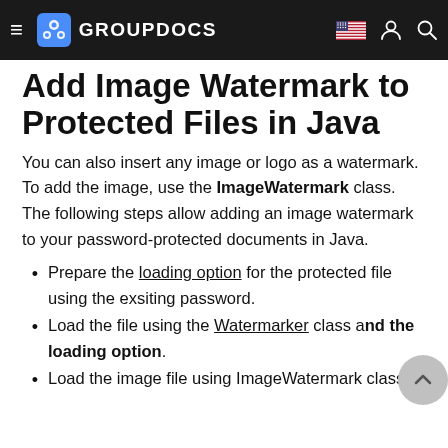GROUPDOCS
Add Image Watermark to Protected Files in Java
You can also insert any image or logo as a watermark. To add the image, use the ImageWatermark class. The following steps allow adding an image watermark to your password-protected documents in Java.
Prepare the loading option for the protected file using the exsiting password.
Load the file using the Watermarker class and loading option.
Load the image file using ImageWatermark class.